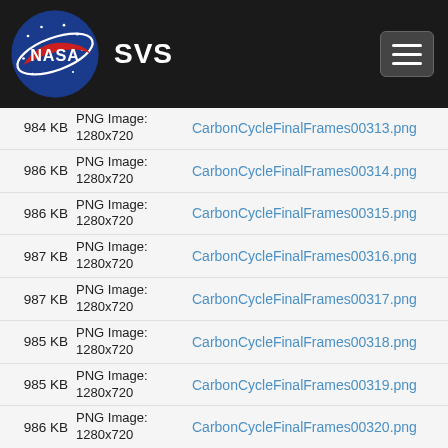NASA SVS
984 KB | PNG Image: 1280x720 | CarbonCycleFinalFrames00313.png
986 KB | PNG Image: 1280x720 | CarbonCycleFinalFrames00314.png
986 KB | PNG Image: 1280x720 | CarbonCycleFinalFrames00315.png
987 KB | PNG Image: 1280x720 | CarbonCycleFinalFrames00316.png
987 KB | PNG Image: 1280x720 | CarbonCycleFinalFrames00317.png
985 KB | PNG Image: 1280x720 | CarbonCycleFinalFrames00318.png
985 KB | PNG Image: 1280x720 | CarbonCycleFinalFrames00319.png
986 KB | PNG Image: 1280x720 | CarbonCycleFinalFrames00320.png
985 KB | PNG Image: 1280x720 | CarbonCycleFinalFrames00321.png
985 KB | PNG Image: 1280x720 | CarbonCycleFinalFrames00322.png